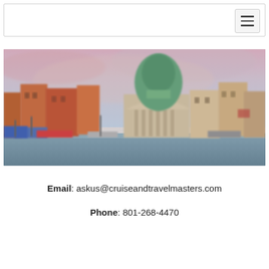[Figure (screenshot): Navigation bar with hamburger menu icon on the right]
[Figure (photo): Blurred photo of Venice canal with colorful buildings, boats, and a green dome church. A search box overlay reads 'Where do you want to go?']
Email: askus@cruiseandtravelmasters.com
Phone: 801-268-4470